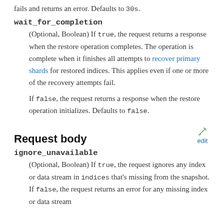fails and returns an error. Defaults to 30s.
wait_for_completion
(Optional, Boolean) If true, the request returns a response when the restore operation completes. The operation is complete when it finishes all attempts to recover primary shards for restored indices. This applies even if one or more of the recovery attempts fail.

If false, the request returns a response when the restore operation initializes. Defaults to false.
Request body
ignore_unavailable
(Optional, Boolean) If true, the request ignores any index or data stream in indices that's missing from the snapshot. If false, the request returns an error for any missing index or data stream